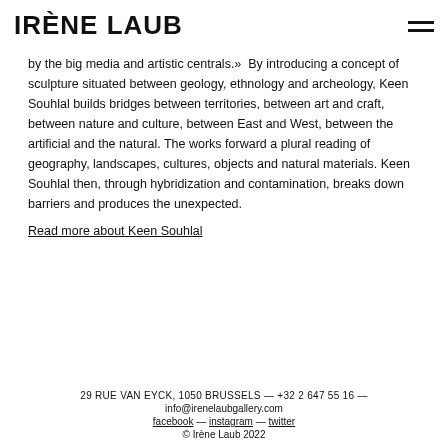IRÈNE LAUB
by the big media and artistic centrals.»  By introducing a concept of sculpture situated between geology, ethnology and archeology, Keen Souhlal builds bridges between territories, between art and craft, between nature and culture, between East and West, between the artificial and the natural. The works forward a plural reading of geography, landscapes, cultures, objects and natural materials. Keen Souhlal then, through hybridization and contamination, breaks down barriers and produces the unexpected.
Read more about Keen Souhlal
29 RUE VAN EYCK, 1050 BRUSSELS — +32 2 647 55 16 — info@irenelaubgallery.com
facebook — instagram — twitter
© Irène Laub 2022